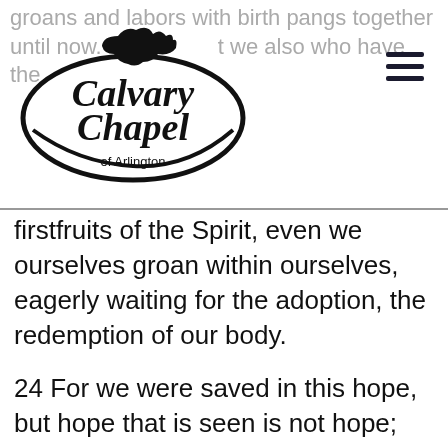groans and labors with birth pangs together until now. ...that we also who have the
[Figure (logo): Calvary Chapel of Arlington logo — black and white dove/swoosh with text]
firstfruits of the Spirit, even we ourselves groan within ourselves, eagerly waiting for the adoption, the redemption of our body.
24 For we were saved in this hope, but hope that is seen is not hope; for why does one still hope for what he sees?
25 But if we hope for what we do not see, we eagerly wait for it with perseverance.
26 Likewise the Spirit also helps in our weaknesses. For we do not know what we should pray for as we ought, but the Spirit...